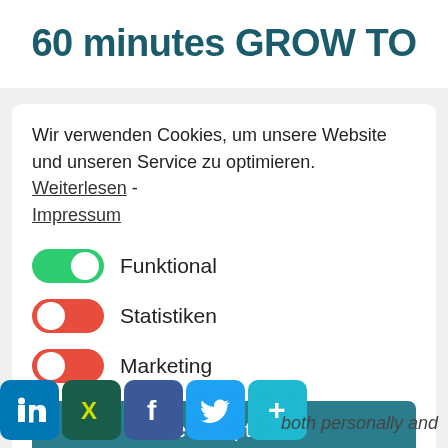60 minutes GROW TO
Wir verwenden Cookies, um unsere Website und unseren Service zu optimieren.  Weiterlesen - Impressum
[Figure (infographic): Three toggle switches: Funktional (green, on), Statistiken (red, off-left), Marketing (red, off-left), with labels]
[Figure (infographic): Button: Alle akzeptieren (teal background)]
[Figure (infographic): Button: Einstellungen speichern (white background, gray border)]
[Figure (infographic): Social media icons bar: LinkedIn (blue), Xing (dark teal), Facebook (blue), Twitter (light blue), More/Plus (light blue)]
both personally and